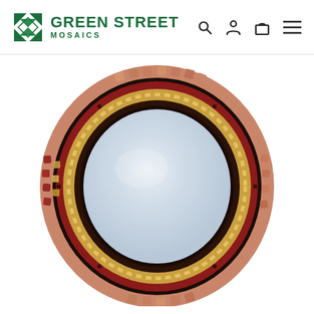Green Street Mosaics — navigation header with search, login, cart, and menu icons
[Figure (photo): Oval decorative wall mirror with ornate mosaic tile frame featuring concentric rings of copper, red, dark brown, and gold colored tiles arranged in a detailed pattern around an oval mirror glass center]